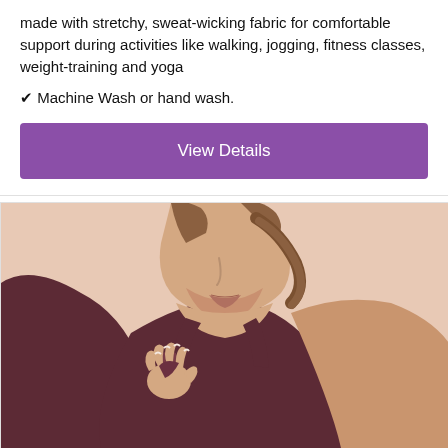made with stretchy, sweat-wicking fabric for comfortable support during activities like walking, jogging, fitness classes, weight-training and yoga
✔ Machine Wash or hand wash.
View Details
[Figure (photo): Close-up photo of a woman wearing a dark maroon/burgundy athletic tank top with racerback straps, pulling at the inner lining of the top with her right hand. Only her neck, lower face, and upper torso are visible.]